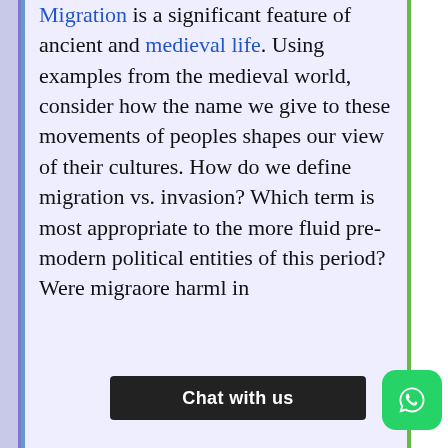Migration is a significant feature of ancient and medieval life. Using examples from the medieval world, consider how the name we give to these movements of peoples shapes our view of their cultures. How do we define migration vs. invasion? Which term is most appropriate to the more fluid pre-modern political entities of this period? Were migra[...] ore harm[...] l in